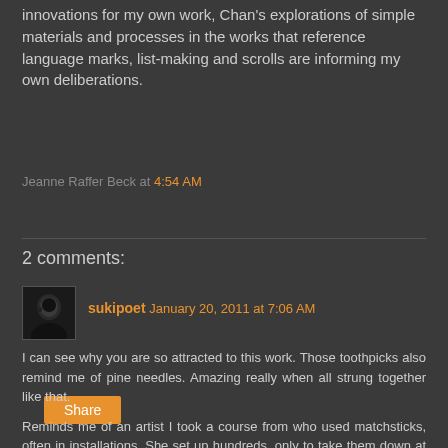innovations for my own work, Chan's explorations of simple materials and processes in the works that reference language marks, list-making and scrolls are informing my own deliberations.
Jeanne Raffer Beck at 4:54 AM
Share
2 comments:
sukipoet January 20, 2011 at 7:06 AM
I can see why you are so attracted to this work. Those toothpicks also remind me of pine needles. Amazing really when all strung together like that.

Reminds me of an artist I took a course from who used matchsticks, often in installations. She set up hundreds, only to take them down at the end of the show.